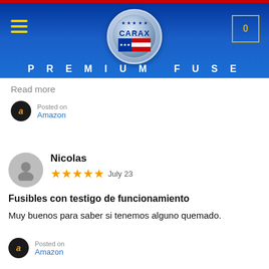[Figure (logo): CARAX brand logo with circular silver badge, stars, and US flag, on dark blue gradient header with PREMIUM FUSE text, hamburger menu icon, and shopping cart icon]
Read more
Posted on
Amazon
Nicolas
★★★★★ July 23
Fusibles con testigo de funcionamiento
Muy buenos para saber si tenemos alguno quemado.
Posted on
Amazon